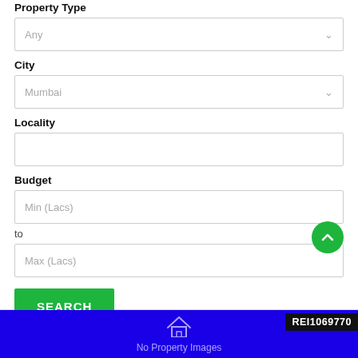Property Type
Any
City
Mumbai
Locality
Budget
Min (Lacs)
to
Max (Lacs)
SEARCH
[Figure (screenshot): Purple/blue banner at bottom showing a house icon outline and 'No Property Images' text with 'REI1069770' ID label in a dark box at top right]
No Property Images
REI1069770